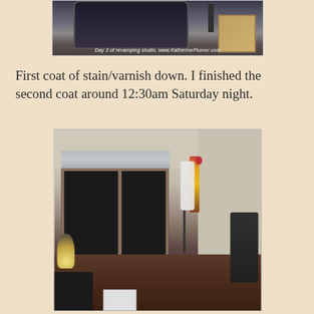[Figure (photo): Partial view of an art studio being revamped, showing a chair and furniture. Caption reads: Day 3 of revamping studio, www.KatherinePlumer.com]
First coat of stain/varnish down. I finished the second coat around 12:30am Saturday night.
[Figure (photo): Interior room photo showing a window with curtains, hardwood floors, ribbons/awards hanging on the wall, and some equipment/furniture.]